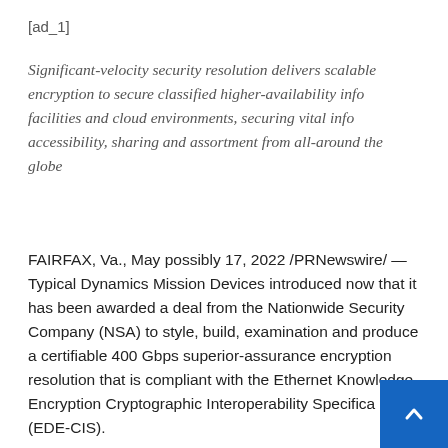[ad_1]
Significant-velocity security resolution delivers scalable encryption to secure classified higher-availability info facilities and cloud environments, securing vital info accessibility, sharing and assortment from all-around the globe
FAIRFAX, Va., May possibly 17, 2022 /PRNewswire/ — Typical Dynamics Mission Devices introduced now that it has been awarded a deal from the Nationwide Security Company (NSA) to style, build, examination and produce a certifiable 400 Gbps superior-assurance encryption resolution that is compliant with the Ethernet Knowledge Encryption Cryptographic Interoperability Specification (EDE-CIS).